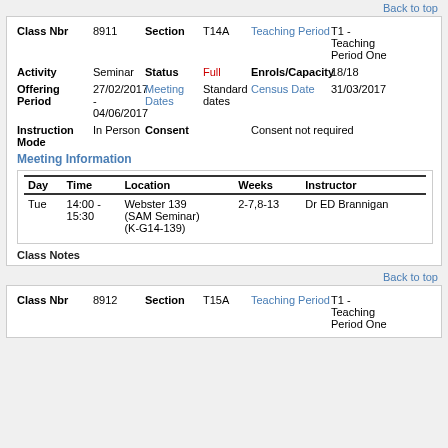Back to top
| Class Nbr |  | Section |  | Teaching Period |  |
| --- | --- | --- | --- | --- | --- |
| Class Nbr | 8911 | Section | T14A | Teaching Period | T1 - Teaching Period One |
| Activity | Seminar | Status | Full | Enrols/Capacity | 18/18 |
| Offering Period | 27/02/2017 - 04/06/2017 | Meeting Dates | Standard dates | Census Date | 31/03/2017 |
| Instruction Mode | In Person | Consent |  | Consent not required |  |
Meeting Information
| Day | Time | Location | Weeks | Instructor |
| --- | --- | --- | --- | --- |
| Tue | 14:00 - 15:30 | Webster 139 (SAM Seminar) (K-G14-139) | 2-7,8-13 | Dr ED Brannigan |
Class Notes
Back to top
| Class Nbr |  | Section |  | Teaching Period |  |
| --- | --- | --- | --- | --- | --- |
| Class Nbr | 8912 | Section | T15A | Teaching Period | T1 - Teaching Period One |